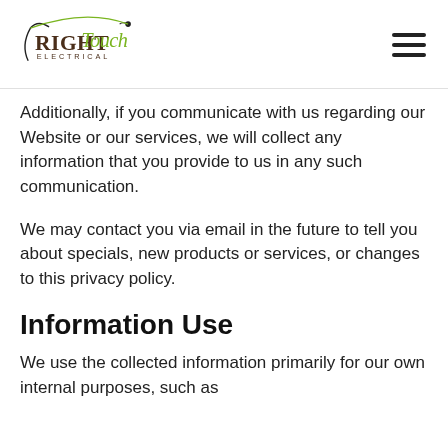Right Touch Electrical logo and navigation menu
Additionally, if you communicate with us regarding our Website or our services, we will collect any information that you provide to us in any such communication.
We may contact you via email in the future to tell you about specials, new products or services, or changes to this privacy policy.
Information Use
We use the collected information primarily for our own internal purposes, such as